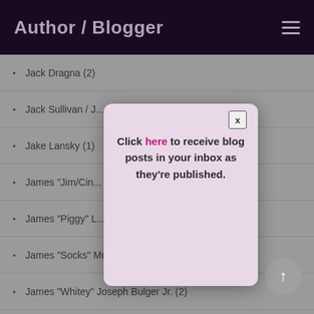Author / Blogger
Jack Dragna (2)
Jack Sullivan / J...
Jake Lansky (1)
James "Jim/Cin...
James "Piggy" L...
James "Socks" McDonough (1)
James "Whitey" Joseph Bulger Jr. (2)
Jimmy "The Weasel" Fratianno (3)
[Figure (screenshot): Modal popup with pink/lavender background showing text: Click here to receive blog posts in your inbox as they're published. Has an X close button in top right corner.]